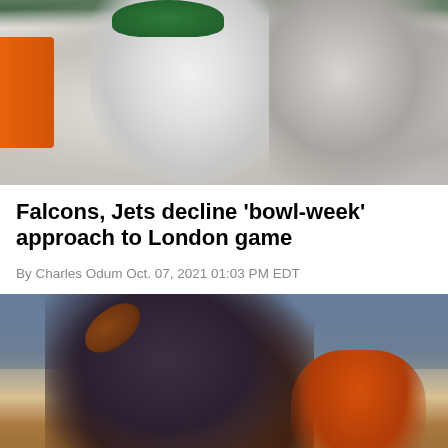[Figure (photo): NFL Jets players sitting on the bench, one player in white Jets uniform with green cap visible, orange element on left side]
Falcons, Jets decline 'bowl-week' approach to London game
By Charles Odum Oct. 07, 2021 01:03 PM EDT
[Figure (photo): NFL player in dark uniform reaching up to catch or deflect a football, with another player in orange Bears uniform visible, crowd in background]